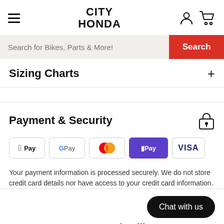CITY HONDA
Search for Bikes, Parts & More!
Sizing Charts
Payment & Security
[Figure (other): Payment method badges: Apple Pay, Google Pay, Mastercard, OPay, Visa]
Your payment information is processed securely. We do not store credit card details nor have access to your credit card information.
Chat with us
You may also like